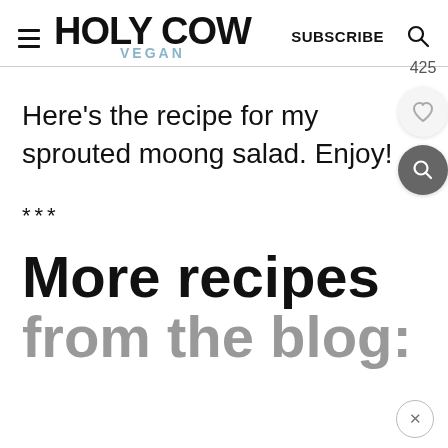Holy Cow Vegan — SUBSCRIBE
Here's the recipe for my sprouted moong salad. Enjoy!
***
More recipes from the blog: